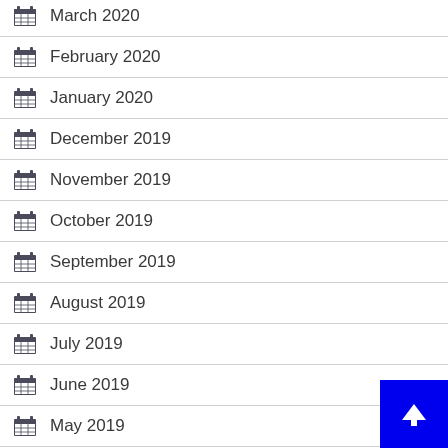March 2020
February 2020
January 2020
December 2019
November 2019
October 2019
September 2019
August 2019
July 2019
June 2019
May 2019
April 2019
February 2019